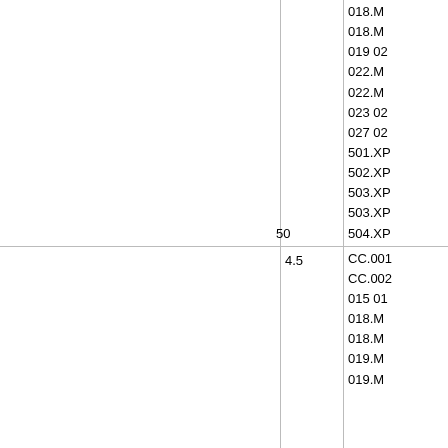|  |  |  |
| --- | --- | --- |
|  |  | 018.M
018.M
019 02
022.M
022.M
023 02
027 02
501.XP
502.XP
503.XP
503.XP
504.XP |
| 4.5 | 50 | CC.001
CC.002
015 01
018.M
018.M
019.M
019.M |